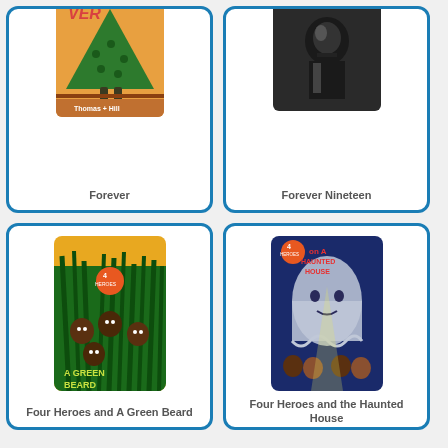[Figure (illustration): Book cover for 'Forever' showing a green tree-like character with legs walking on a stage with orange curtains]
Forever
[Figure (illustration): Book cover for 'Forever Nineteen' showing a dark grayscale image of a soldier or figure]
Forever Nineteen
[Figure (illustration): Book cover for 'Four Heroes and A Green Beard' showing four children in tall green grass with orange background]
Four Heroes and A Green Beard
[Figure (illustration): Book cover for 'Four Heroes and the Haunted House' showing four children and a ghost in a blue haunted house scene]
Four Heroes and the Haunted House